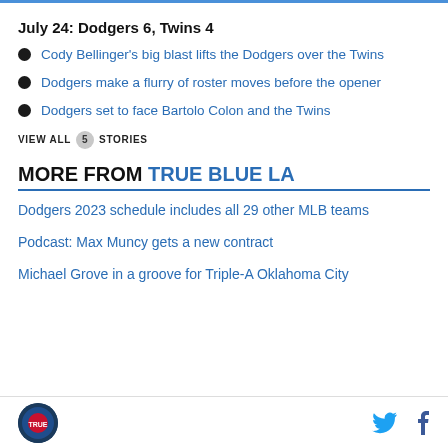July 24: Dodgers 6, Twins 4
Cody Bellinger's big blast lifts the Dodgers over the Twins
Dodgers make a flurry of roster moves before the opener
Dodgers set to face Bartolo Colon and the Twins
VIEW ALL 5 STORIES
MORE FROM TRUE BLUE LA
Dodgers 2023 schedule includes all 29 other MLB teams
Podcast: Max Muncy gets a new contract
Michael Grove in a groove for Triple-A Oklahoma City